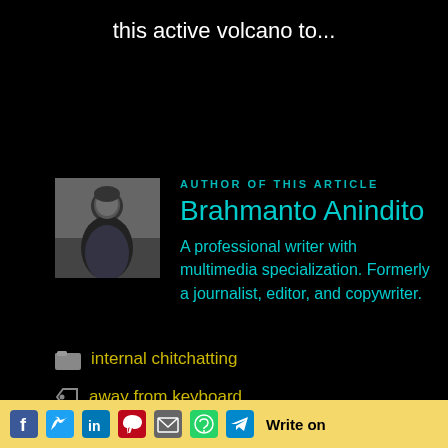this active volcano to...
AUTHOR OF THIS ARTICLE
Brahmanto Anindito
A professional writer with multimedia specialization. Formerly a journalist, editor, and copywriter.
internal chitchatting
away from keyboard
What is Your Deja Lu in Fiction?
Write on